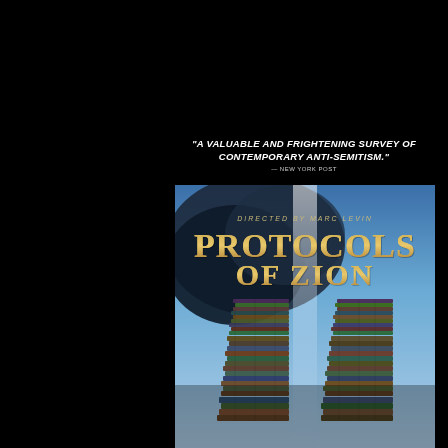"A VALUABLE AND FRIGHTENING SURVEY OF CONTEMPORARY ANTI-SEMITISM." — NEW YORK POST
[Figure (photo): DVD cover for 'Protocols of Zion' directed by Marc Levin. Shows two tall stacks of books shaped like the Twin Towers against a blue smoky sky background. Gold stylized text reads 'PROTOCOLS OF ZION' with smaller text above reading 'DIRECTED BY MARC LEVIN'.]